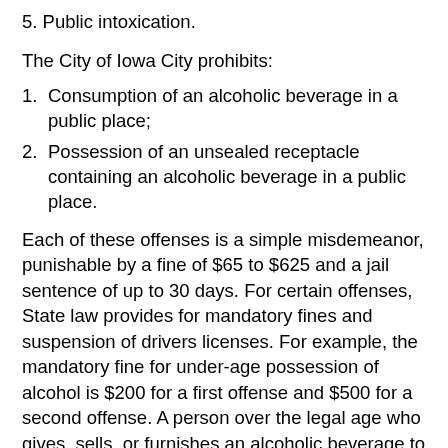5. Public intoxication.
The City of Iowa City prohibits:
1. Consumption of an alcoholic beverage in a public place;
2. Possession of an unsealed receptacle containing an alcoholic beverage in a public place.
Each of these offenses is a simple misdemeanor, punishable by a fine of $65 to $625 and a jail sentence of up to 30 days. For certain offenses, State law provides for mandatory fines and suspension of drivers licenses. For example, the mandatory fine for under-age possession of alcohol is $200 for a first offense and $500 for a second offense. A person over the legal age who gives, sells, or furnishes an alcoholic beverage to a person under the legal age commits a serious